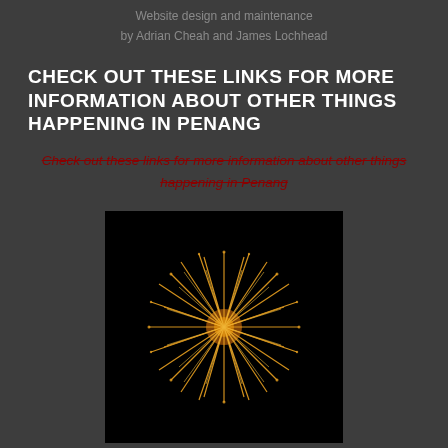Website design and maintenance
by Adrian Cheah and James Lochhead
CHECK OUT THESE LINKS FOR MORE INFORMATION ABOUT OTHER THINGS HAPPENING IN PENANG
Check out these links for more information about other things happening in Penang
[Figure (photo): Fireworks burst on a black background, golden orange color, circular explosion pattern]